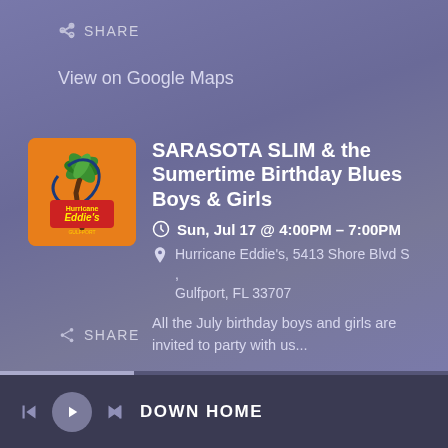SHARE
View on Google Maps
[Figure (logo): Hurricane Eddie's restaurant logo on orange background with palm tree graphic]
SARASOTA SLIM & the Sumertime Birthday Blues Boys & Girls
Sun, Jul 17 @ 4:00PM – 7:00PM
Hurricane Eddie's, 5413 Shore Blvd S , Gulfport, FL 33707
All the July birthday boys and girls are invited to party with us...
SHARE
DOWN HOME